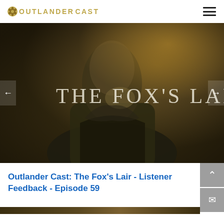OUTLANDER CAST
[Figure (screenshot): Dark moody TV show still image with overlaid text 'THE FOX'S LAIR' in light serif letters. Shows a figure in period costume against a warm dark background.]
Outlander Cast: The Fox's Lair - Listener Feedback - Episode 59